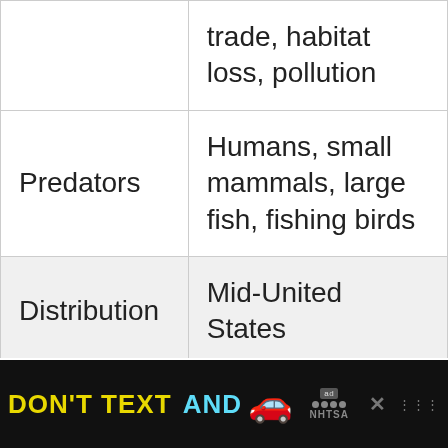| Category | Value |
| --- | --- |
|  | trade, habitat loss, pollution |
| Predators | Humans, small mammals, large fish, fishing birds |
| Distribution | Mid-United States |
| Habitat | Ponds, marshes, lakes |
| Lifespan | 20–40 years |
[Figure (other): Advertisement banner: DON'T TEXT AND [car emoji] with NHTSA logo and ad badge, on black background]